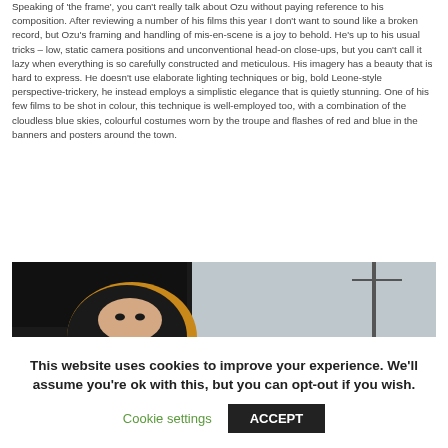Speaking of 'the frame', you can't really talk about Ozu without paying reference to his composition. After reviewing a number of his films this year I don't want to sound like a broken record, but Ozu's framing and handling of mis-en-scene is a joy to behold. He's up to his usual tricks – low, static camera positions and unconventional head-on close-ups, but you can't call it lazy when everything is so carefully constructed and meticulous. His imagery has a beauty that is hard to express. He doesn't use elaborate lighting techniques or big, bold Leone-style perspective-trickery, he instead employs a simplistic elegance that is quietly stunning. One of his few films to be shot in colour, this technique is well-employed too, with a combination of the cloudless blue skies, colourful costumes worn by the troupe and flashes of red and blue in the banners and posters around the town.
[Figure (photo): A partially visible photograph showing a person wearing a dark hood with yellow/gold trim, photographed from below with a dark roof/building structure visible in the background against a light sky.]
This website uses cookies to improve your experience. We'll assume you're ok with this, but you can opt-out if you wish.
Cookie settings  ACCEPT